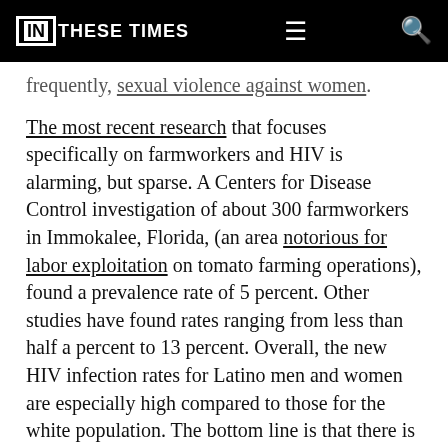IN THESE TIMES
frequently, sexual violence against women.
The most recent research that focuses specifically on farmworkers and HIV is alarming, but sparse. A Centers for Disease Control investigation of about 300 farmworkers in Immokalee, Florida, (an area notorious for labor exploitation on tomato farming operations), found a prevalence rate of 5 percent. Other studies have found rates ranging from less than half a percent to 13 percent. Overall, the new HIV infection rates for Latino men and women are especially high compared to those for the white population. The bottom line is that there is a dire need for more in-depth research.